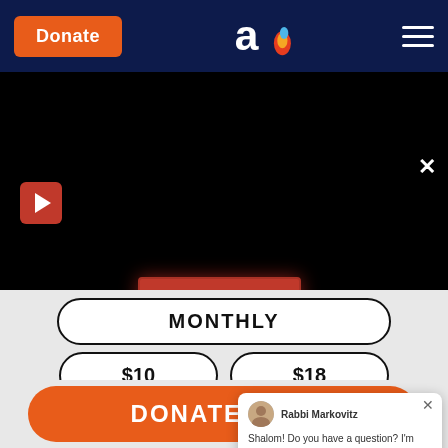[Figure (screenshot): Navigation bar with orange Donate button, Aish logo (stylized 'a' with flame), and hamburger menu on dark navy background]
[Figure (screenshot): Black video player area with red play button icon at top left, red READ MORE button centered, and white X close button at top right]
MONTHLY
$10
$18
$100
OTHER
DONATE NOW
Rabbi Markovitz
Shalom! Do you have a question? I'm online now. Ask me here!